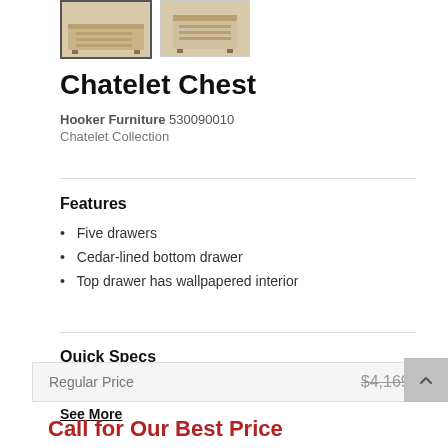[Figure (photo): Two thumbnail images of a Chatelet Chest furniture piece]
Chatelet Chest
Hooker Furniture 530090010
Chatelet Collection
Features
Five drawers
Cedar-lined bottom drawer
Top drawer has wallpapered interior
Quick Specs
Type: Chests
See More
| Regular Price | $4,169.99 |
| --- | --- |
Call for Our Best Price